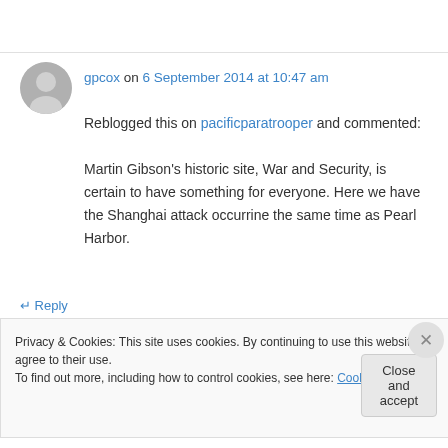gpcox on 6 September 2014 at 10:47 am
Reblogged this on pacificparatrooper and commented: Martin Gibson's historic site, War and Security, is certain to have something for everyone. Here we have the Shanghai attack occurrine the same time as Pearl Harbor.
↵ Reply
Privacy & Cookies: This site uses cookies. By continuing to use this website, you agree to their use. To find out more, including how to control cookies, see here: Cookie Policy
Close and accept